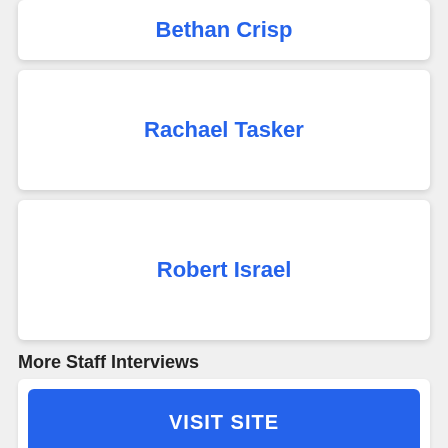Bethan Crisp
Rachael Tasker
Robert Israel
More Staff Interviews
VISIT SITE